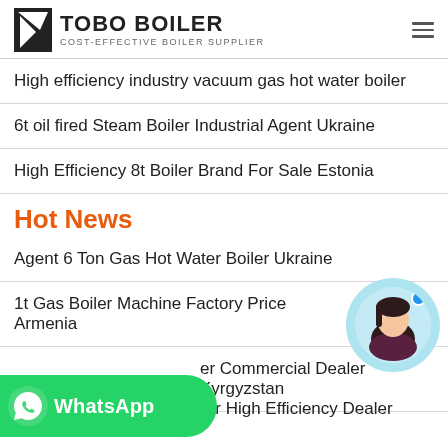TOBO BOILER — COST-EFFECTIVE BOILER SUPPLIER
High efficiency industry vacuum gas hot water boiler
6t oil fired Steam Boiler Industrial Agent Ukraine
High Efficiency 8t Boiler Brand For Sale Estonia
Hot News
Agent 6 Ton Gas Hot Water Boiler Ukraine
1t Gas Boiler Machine Factory Price Armenia
...er Commercial Dealer Kyrgyzstan
10t Coal Condensing Boiler High Efficiency Dealer Moldavia